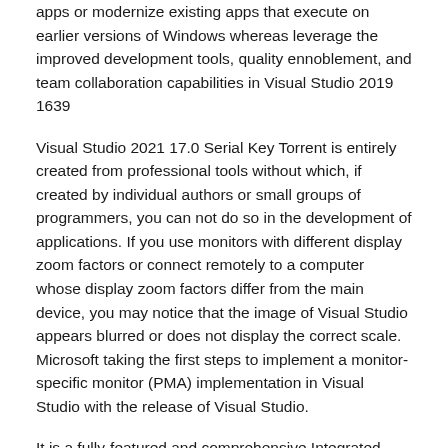apps or modernize existing apps that execute on earlier versions of Windows whereas leverage the improved development tools, quality ennoblement, and team collaboration capabilities in Visual Studio 2019 1639
Visual Studio 2021 17.0 Serial Key Torrent is entirely created from professional tools without which, if created by individual authors or small groups of programmers, you can not do so in the development of applications. If you use monitors with different display zoom factors or connect remotely to a computer whose display zoom factors differ from the main device, you may notice that the image of Visual Studio appears blurred or does not display the correct scale. Microsoft taking the first steps to implement a monitor-specific monitor (PMA) implementation in Visual Studio with the release of Visual Studio.
It is a fully-featured and comprehensive Integrated Development Environments for individual programs. The full version of Visual Studio Crack is now available for Mac devices and Microsoft Windows as well. Everybody finds the